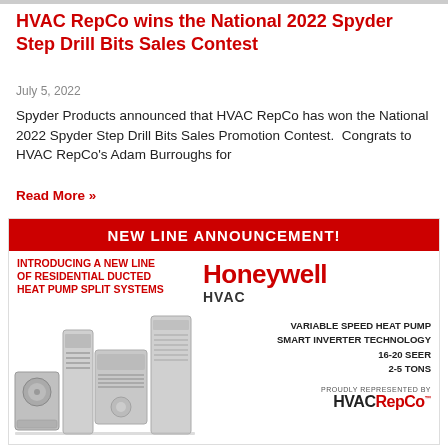HVAC RepCo wins the National 2022 Spyder Step Drill Bits Sales Contest
July 5, 2022
Spyder Products announced that HVAC RepCo has won the National 2022 Spyder Step Drill Bits Sales Promotion Contest.  Congrats to HVAC RepCo's Adam Burroughs for
Read More »
[Figure (infographic): Honeywell HVAC new line announcement advertisement. Red banner at top reads 'NEW LINE ANNOUNCEMENT!'. Left side text: 'INTRODUCING A NEW LINE OF RESIDENTIAL DUCTED HEAT PUMP SPLIT SYSTEMS'. Center shows Honeywell logo. Right side lists: HVAC, VARIABLE SPEED HEAT PUMP, SMART INVERTER TECHNOLOGY, 16-20 SEER, 2-5 TONS. Bottom right: 'PROUDLY REPRESENTED BY HVACRepCo'. Center shows images of HVAC equipment units.]